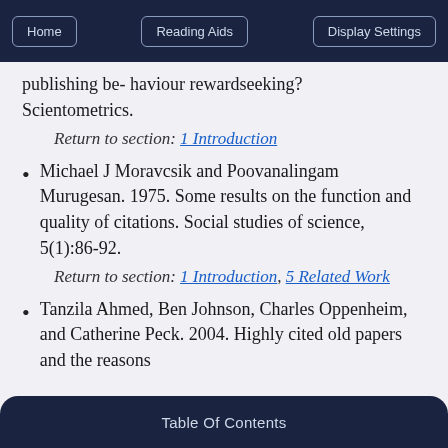Home | Reading Aids | Display Settings
publishing be- haviour rewardseeking? Scientometrics.
Return to section: 1 Introduction
Michael J Moravcsik and Poovanalingam Murugesan. 1975. Some results on the function and quality of citations. Social studies of science, 5(1):86-92.
Return to section: 1 Introduction, 5 Related Work
Tanzila Ahmed, Ben Johnson, Charles Oppenheim, and Catherine Peck. 2004. Highly cited old papers and the reasons
Table Of Contents